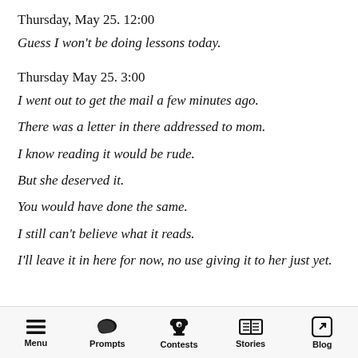Thursday, May 25. 12:00
Guess I won't be doing lessons today.
Thursday May 25. 3:00
I went out to get the mail a few minutes ago.
There was a letter in there addressed to mom.
I know reading it would be rude.
But she deserved it.
You would have done the same.
I still can't believe what it reads.
I'll leave it in here for now, no use giving it to her just yet.
Menu | Prompts | Contests | Stories | Blog